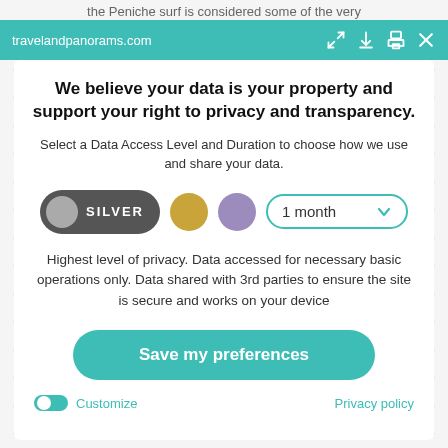the Peniche surf is considered some of the very
travelandpanorams.com
We believe your data is your property and support your right to privacy and transparency.
Select a Data Access Level and Duration to choose how we use and share your data.
[Figure (infographic): Privacy level selector showing SILVER button (dark grey pill with grey circle), gold circle, purple circle, and a '1 month' dropdown with teal border and chevron]
Highest level of privacy. Data accessed for necessary basic operations only. Data shared with 3rd parties to ensure the site is secure and works on your device
[Figure (infographic): Teal 'Save my preferences' rounded button]
Customize
Privacy policy